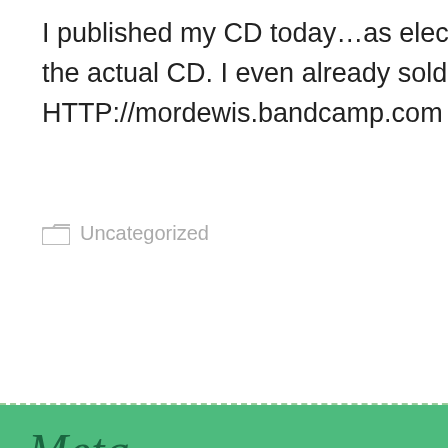I published my CD today…as electronic files for download, to help fund the actual CD. I even already sold one! you can find it at Bandcamp – HTTP://mordewis.bandcamp.com
Uncategorized
bandcamp.com, Moss Bliss, music
Meta
Log in
Entries feed
Comments feed
WordPress.org
Copyright Notice
All content copyright at date of publication and today's date by Gerald L. "Moss" Bliss, D.D., DSP unless otherwise noted.